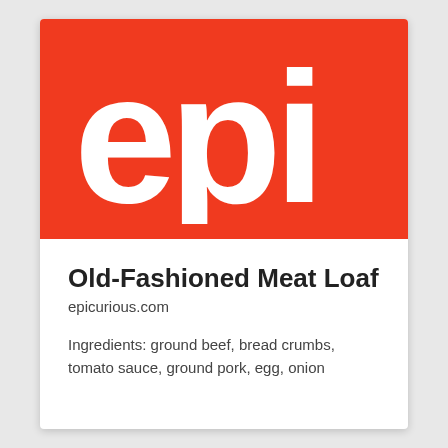[Figure (logo): Epicurious logo: white lowercase letters 'epi' on a red-orange background]
Old-Fashioned Meat Loaf
epicurious.com
Ingredients: ground beef, bread crumbs, tomato sauce, ground pork, egg, onion